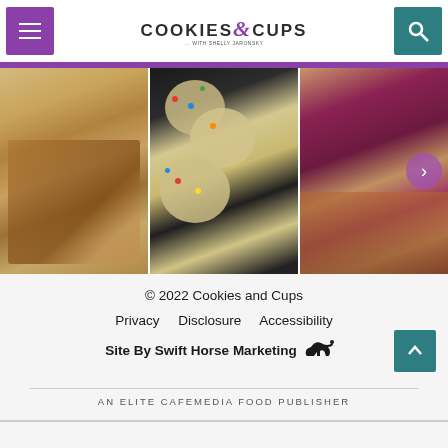Cookies and Cups — with Shelly Jaronsky
[Figure (photo): Three food photos side by side: pastries/hand pies on the left, colorful M&M cookies in the center, berry crumble dessert on the right, with a purple next arrow overlay.]
© 2022 Cookies and Cups
Privacy   Disclosure   Accessibility
Site By Swift Horse Marketing
AN ELITE CAFEMEDIA FOOD PUBLISHER